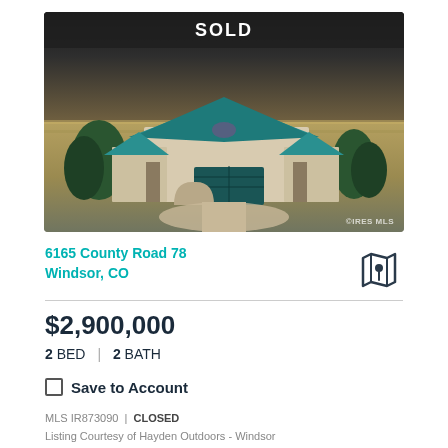[Figure (photo): Aerial photo of a large house with teal/blue metal roof and light stucco exterior, surrounded by flat open land with a dark stormy sky. A 'SOLD' banner overlays the top of the image.]
6165 County Road 78
Windsor, CO
$2,900,000
2 BED | 2 BATH
Save to Account
MLS IR873090 | CLOSED
Listing Courtesy of Hayden Outdoors - Windsor